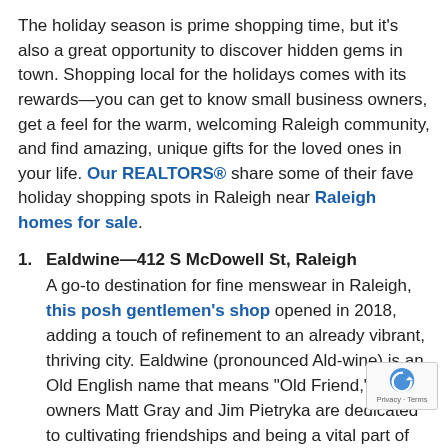The holiday season is prime shopping time, but it's also a great opportunity to discover hidden gems in town. Shopping local for the holidays comes with its rewards—you can get to know small business owners, get a feel for the warm, welcoming Raleigh community, and find amazing, unique gifts for the loved ones in your life. Our REALTORS® share some of their fave holiday shopping spots in Raleigh near Raleigh homes for sale.
Ealdwine—412 S McDowell St, Raleigh
A go-to destination for fine menswear in Raleigh, this posh gentlemen's shop opened in 2018, adding a touch of refinement to an already vibrant, thriving city. Ealdwine (pronounced Ald-wine) is an Old English name that means "Old Friend," and owners Matt Gray and Jim Pietryka are dedicated to cultivating friendships and being a vital part of the Raleigh community. Choose from a wide selection of Alden brand shoes and a well-curated variety of some finest menswear, leather goods, and more. The both ready-to-wear and custom-tailored options.